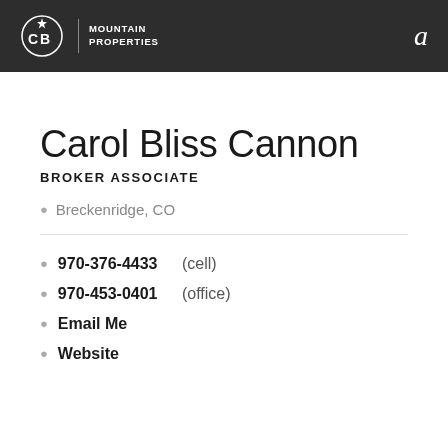Coldwell Banker Mountain Properties
Carol Bliss Cannon
BROKER ASSOCIATE
Breckenridge, CO
970-376-4433 (cell)
970-453-0401 (office)
Email Me
Website